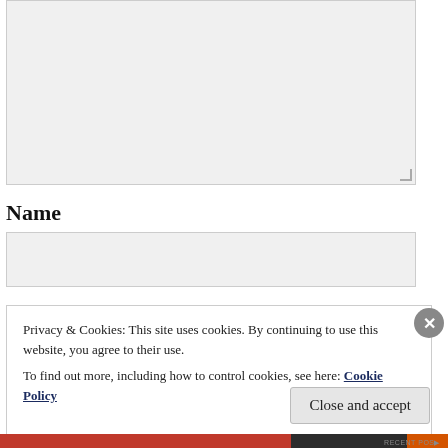[Figure (screenshot): A large empty textarea input box with light gray background and resize handle at bottom-right corner]
Name
[Figure (screenshot): A text input field with light gray background for entering a name]
Privacy & Cookies: This site uses cookies. By continuing to use this website, you agree to their use.
To find out more, including how to control cookies, see here: Cookie Policy
Close and accept